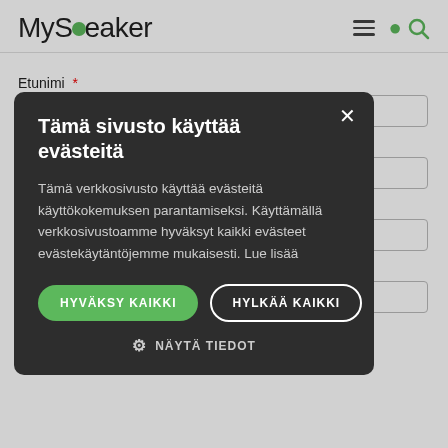[Figure (logo): MySpeaker logo with green circle replacing the 'o' in Speaker]
Etunimi *
[Figure (screenshot): Cookie consent modal overlay on a web form. Title: Tämä sivusto käyttää evästeitä. Body: Tämä verkkosivusto käyttää evästeitä käyttökokemuksen parantamiseksi. Käyttämällä verkkosivustoamme hyväksyt kaikki evästeet evästekäytäntöjemme mukaisesti. Lue lisää. Buttons: HYVÄKSY KAIKKI, HYLKÄÄ KAIKKI. Link: NÄYTÄ TIEDOT]